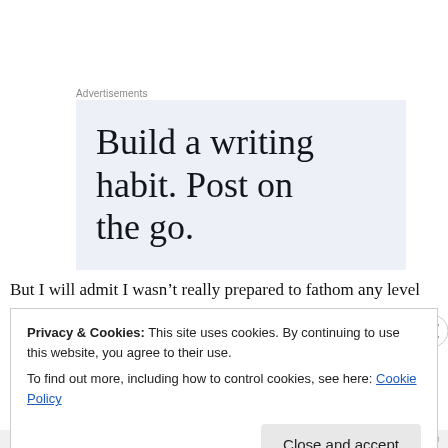Advertisements
[Figure (illustration): Advertisement banner with light blue-gray background showing text: Build a writing habit. Post on the go.]
But I will admit I wasn’t really prepared to fathom any level
Privacy & Cookies: This site uses cookies. By continuing to use this website, you agree to their use.
To find out more, including how to control cookies, see here: Cookie Policy
Close and accept